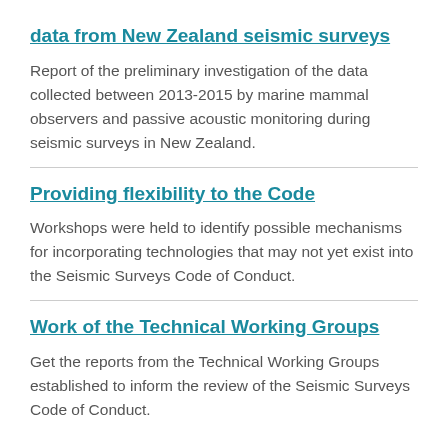data from New Zealand seismic surveys
Report of the preliminary investigation of the data collected between 2013-2015 by marine mammal observers and passive acoustic monitoring during seismic surveys in New Zealand.
Providing flexibility to the Code
Workshops were held to identify possible mechanisms for incorporating technologies that may not yet exist into the Seismic Surveys Code of Conduct.
Work of the Technical Working Groups
Get the reports from the Technical Working Groups established to inform the review of the Seismic Surveys Code of Conduct.